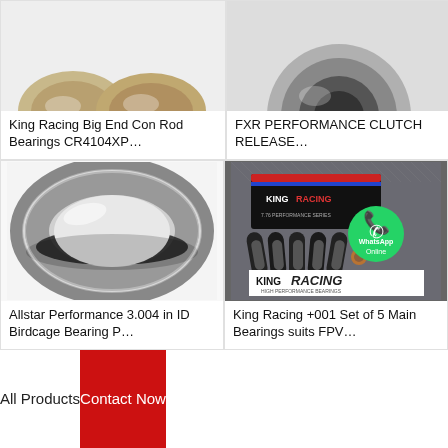[Figure (photo): King Racing Big End Con Rod Bearings product photo (top cropped)]
[Figure (photo): FXR Performance Clutch Release product photo (top cropped)]
King Racing Big End Con Rod Bearings CR4104XP…
FXR PERFORMANCE CLUTCH RELEASE…
[Figure (photo): Allstar Performance 3.004 in ID Birdcage Bearing - silver ring bearing photograph]
[Figure (photo): King Racing +001 Set of 5 Main Bearings suits FPV - King Racing box and bearings with WhatsApp Online overlay]
Allstar Performance 3.004 in ID Birdcage Bearing P…
King Racing +001 Set of 5 Main Bearings suits FPV…
All Products
Contact Now